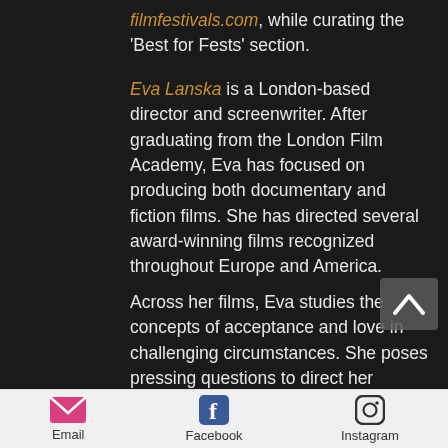filmfestivals.com, while curating the 'Best for Fests' section.
Eva Lanska is a London-based director and screenwriter. After graduating from the London Film Academy, Eva has focused on producing both documentary and fiction films. She has directed several award-winning films recognized throughout Europe and America.
Across her films, Eva studies the concepts of acceptance and love in challenging circumstances. She poses pressing questions to direct her audience to reflect on the choices to be
Email  Facebook  Instagram